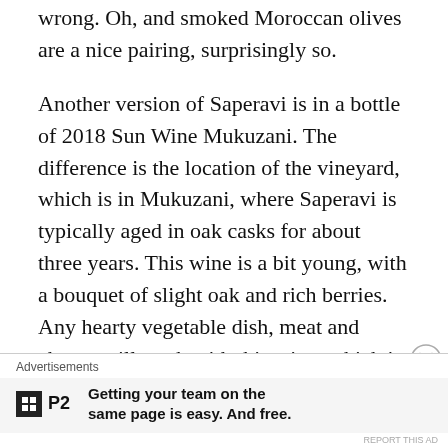wrong. Oh, and smoked Moroccan olives are a nice pairing, surprisingly so.
Another version of Saperavi is in a bottle of 2018 Sun Wine Mukuzani. The difference is the location of the vineyard, which is in Mukuzani, where Saperavi is typically aged in oak casks for about three years. This wine is a bit young, with a bouquet of slight oak and rich berries. Any hearty vegetable dish, meat and cheese will work with this wine, which is priced around $18 a bottle. I'd suggest leaving it for at least one year to see what complexity results.
Last, but not least, is the exotic version of a semi-sweet
Advertisements
[Figure (infographic): Advertisement banner for P2 with logo and tagline: Getting your team on the same page is easy. And free.]